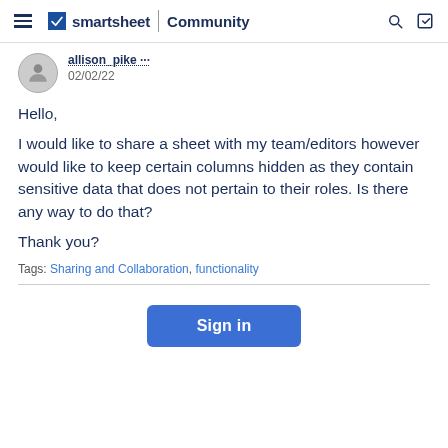smartsheet Community
allison_pike
02/02/22
Hello,

I would like to share a sheet with my team/editors however would like to keep certain columns hidden as they contain sensitive data that does not pertain to their roles. Is there any way to do that?

Thank you?
Tags: Sharing and Collaboration, functionality
Sign in